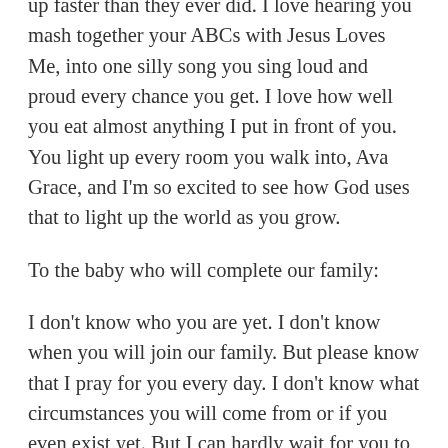up faster than they ever did. I love hearing you mash together your ABCs with Jesus Loves Me, into one silly song you sing loud and proud every chance you get. I love how well you eat almost anything I put in front of you. You light up every room you walk into, Ava Grace, and I'm so excited to see how God uses that to light up the world as you grow.
To the baby who will complete our family:
I don't know who you are yet. I don't know when you will join our family. But please know that I pray for you every day. I don't know what circumstances you will come from or if you even exist yet. But I can hardly wait for you to complete our family. My heart is already so full of love for you, sweet child.